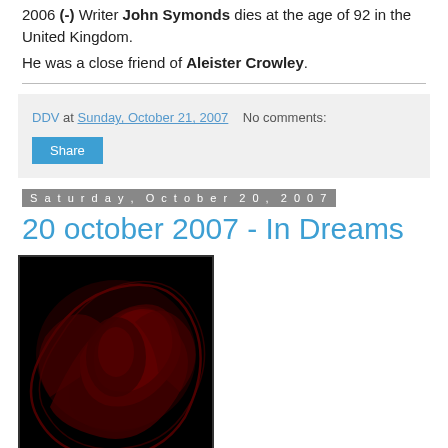2006 (-) Writer John Symonds dies at the age of 92 in the United Kingdom.
He was a close friend of Aleister Crowley.
DDV at Sunday, October 21, 2007   No comments:
Share
Saturday, October 20, 2007
20 october 2007 - In Dreams
[Figure (photo): Dark image with black background and dark red/crimson stylized design or artwork, possibly a dragon or abstract figure.]